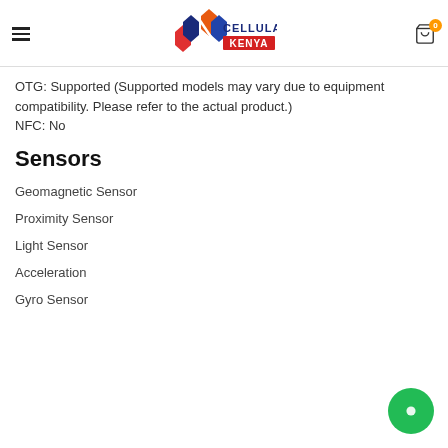Cellular Kenya header with logo, hamburger menu, and cart icon
OTG: Supported (Supported models may vary due to equipment compatibility. Please refer to the actual product.)
NFC: No
Sensors
Geomagnetic Sensor
Proximity Sensor
Light Sensor
Acceleration
Gyro Sensor